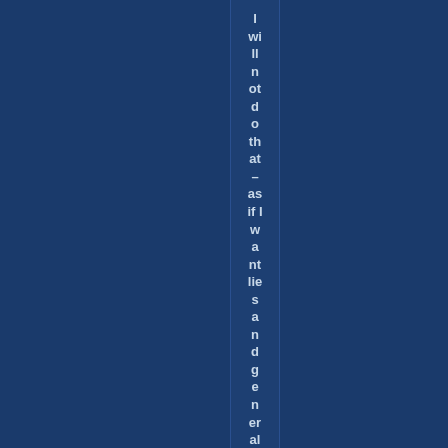I will not do that – as if I want lies and generalist leftist pr